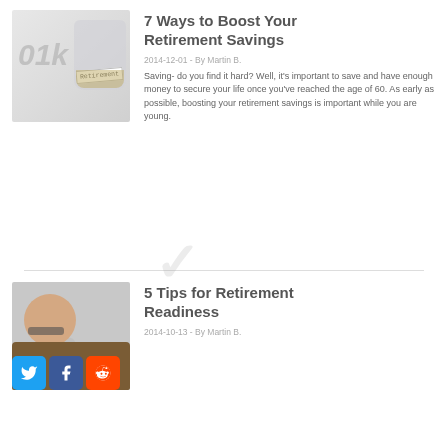[Figure (photo): Thumbnail image of a jar labeled Retirement with coins and '01k' text overlay]
7 Ways to Boost Your Retirement Savings
2014-12-01 - By Martin B.
Saving- do you find it hard? Well, it's important to save and have enough money to secure your life once you've reached the age of 60. As early as possible, boosting your retirement savings is important while you are young.
[Figure (photo): Thumbnail image of an elderly person, with social sharing icons (Twitter, Facebook, Reddit) overlaid at bottom left]
5 Tips for Retirement Readiness
2014-10-13 - By Martin B.